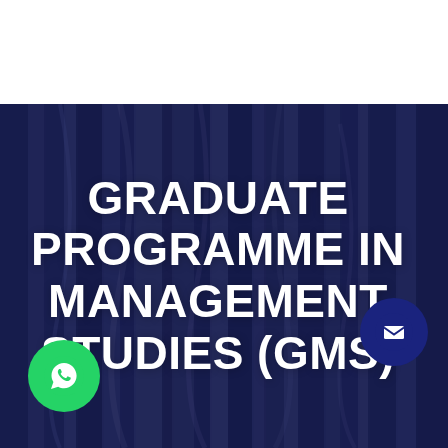[Figure (illustration): Dark blue draped fabric/curtain background with dark navy overlay, used as background for the Graduate Programme in Management Studies (GMS) title page.]
GRADUATE PROGRAMME IN MANAGEMENT STUDIES (GMS)
[Figure (other): Green circular WhatsApp contact button with WhatsApp icon, bottom left corner.]
[Figure (other): Dark navy blue circular email/envelope contact button, bottom right area.]